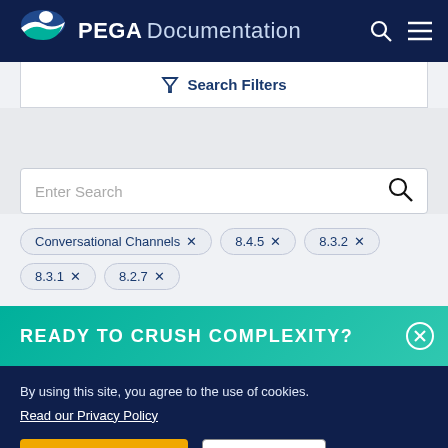PEGA Documentation
Search Filters
Enter Search
Conversational Channels ×
8.4.5 ×
8.3.2 ×
8.3.1 ×
8.2.7 ×
READY TO CRUSH COMPLEXITY?
By using this site, you agree to the use of cookies.
Read our Privacy Policy
Accept and continue
About cookies